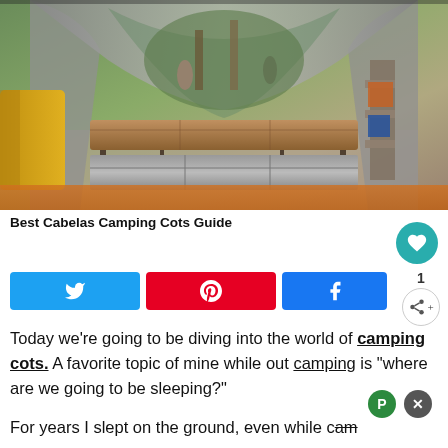[Figure (photo): Interior view of a camping tent looking outward, showing a cot/sleeping platform in the middle and a sleeping mat on the ground. Yellow sleeping bag visible on the left. Forest campsite visible through the tent opening with people in background.]
Best Cabelas Camping Cots Guide
Today we're going to be diving into the world of camping cots. A favorite topic of mine while out camping is "where are we going to be sleeping?" For years I slept on the ground, even while c...